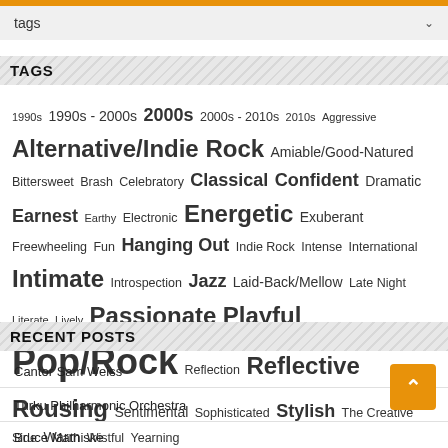tags
TAGS
1990s 1990s - 2000s 2000s 2000s - 2010s 2010s Aggressive Alternative/Indie Rock Amiable/Good-Natured Bittersweet Brash Celebratory Classical Confident Dramatic Earnest Earthy Electronic Energetic Exuberant Freewheeling Fun Hanging Out Indie Rock Intense International Intimate Introspection Jazz Laid-Back/Mellow Late Night Literate Lively Passionate Playful Pop/Rock Reflection Reflective Rousing Sentimental Sophisticated Stylish The Creative Side Warm Wistful Yearning
RECENT POSTS
Cantor Sam Weiss
Turku Philharmonic Orchestra
Bruce Mathiske